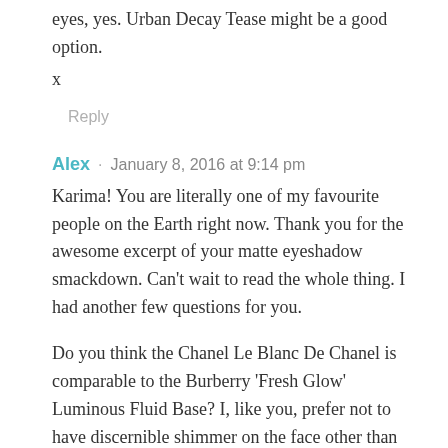eyes, yes. Urban Decay Tease might be a good option.
x
Reply
Alex · January 8, 2016 at 9:14 pm
Karima! You are literally one of my favourite people on the Earth right now. Thank you for the awesome excerpt of your matte eyeshadow smackdown. Can't wait to read the whole thing. I had another few questions for you.
Do you think the Chanel Le Blanc De Chanel is comparable to the Burberry 'Fresh Glow' Luminous Fluid Base? I, like you, prefer not to have discernible shimmer on the face other than when purposely strobing. Another issue is, I have about an NC40 skin so